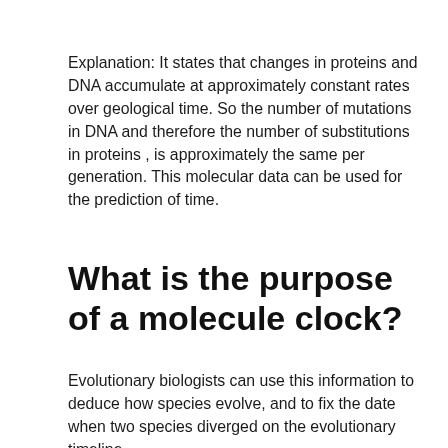Explanation: It states that changes in proteins and DNA accumulate at approximately constant rates over geological time. So the number of mutations in DNA and therefore the number of substitutions in proteins , is approximately the same per generation. This molecular data can be used for the prediction of time.
What is the purpose of a molecule clock?
Evolutionary biologists can use this information to deduce how species evolve, and to fix the date when two species diverged on the evolutionary timeline